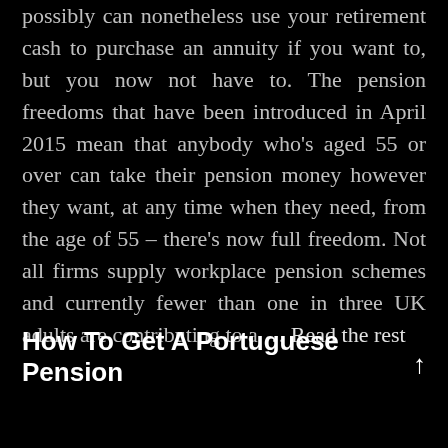possibly can nonetheless use your retirement cash to purchase an annuity if you want to, but you now not have to. The pension freedoms that have been introduced in April 2015 mean that anybody who's aged 55 or over can take their pension money however they want, at any time when they need, from the age of 55 – there's now full freedom. Not all firms supply workplace pension schemes and currently fewer than one in three UK adults are contributing to a … Read the rest
How To Get A Portuguese Pension